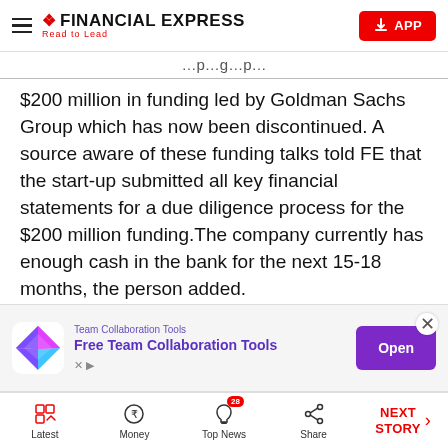FINANCIAL EXPRESS — Read to Lead — APP
$200 million in funding led by Goldman Sachs Group which has now been discontinued. A source aware of these funding talks told FE that the start-up submitted all key financial statements for a due diligence process for the $200 million funding.The company currently has enough cash in the bank for the next 15-18 months, the person added.
Sources mentioned that the $200 million talks for funding were paused without her consent, an
[Figure (screenshot): Advertisement banner for 'Free Team Collaboration Tools' with a colorful diamond logo, purple 'Open' button, and ad controls.]
Latest | Money | Top News (28) | Share | NEXT STORY